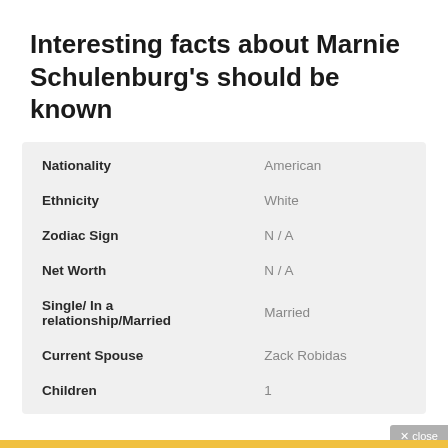Interesting facts about Marnie Schulenburg's should be known
|  |  |
| --- | --- |
| Nationality | American |
| Ethnicity | White |
| Zodiac Sign | N / A |
| Net Worth | N / A |
| Single/ In a relationship/Married | Married |
| Current Spouse | Zack Robidas |
| Children | 1 |